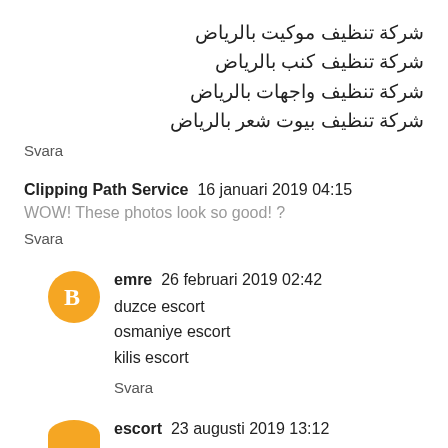شركة تنظيف موكيت بالرياض
شركة تنظيف كنب بالرياض
شركة تنظيف واجهات بالرياض
شركة تنظيف بيوت شعر بالرياض
Svara
Clipping Path Service  16 januari 2019 04:15
WOW! These photos look so good! ?
Svara
[Figure (illustration): Orange circular avatar with white blogger 'B' logo icon]
emre  26 februari 2019 02:42
duzce escort
osmaniye escort
kilis escort
Svara
[Figure (illustration): Partially visible orange circular avatar icon at bottom]
escort  23 augusti 2019 13:12